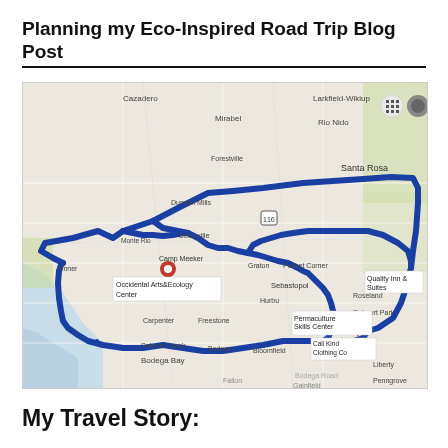Planning my Eco-Inspired Road Trip Blog Post
[Figure (map): A road trip route map of Sonoma County, California showing a loop route (drawn with thick dark blue lines) connecting landmarks including Occidental Arts & Ecology Center, Permaculture Skills Center, Cali Kind Clothing Co, Quality Inn & Suites, and passing through areas such as Jenner, Bodega Bay, Guerneville, Santa Rosa, and surrounding towns. Two location pins mark stops along the route.]
My Travel Story: